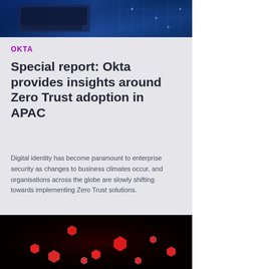[Figure (photo): Top banner image showing a dark blue digital/technology themed background with circuit board patterns and glowing blue elements, suggesting cybersecurity or technology theme.]
OKTA
Special report: Okta provides insights around Zero Trust adoption in APAC
Digital identity has become paramount to enterprise security as changes to business climates occur, and organisations across the globe are slowly shifting towards implementing Zero Trust solutions.
[Figure (photo): Dark red/black themed image showing glowing red hexagonal shapes scattered across what appears to be a world map silhouette, representing cyber threats or network security visualization.]